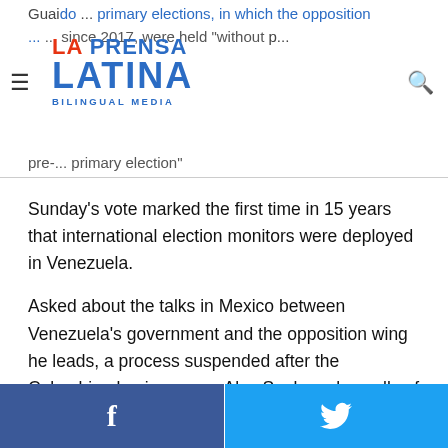La Prensa Latina Bilingual Media
Guaido ... primary elections, in which the opposition ... since 2017, were held "without pre-... primary election"
Sunday's vote marked the first time in 15 years that international election monitors were deployed in Venezuela.
Asked about the talks in Mexico between Venezuela's government and the opposition wing he leads, a process suspended after the Colombian businessman Alex Saab, a close ally of Venezuelan President Nicolas Maduro's, was extradited to the United States to face money laundering charges, Guaido stressed the need to find solutions.
“We’re ready to reach a national salvation agreement. We’re ready to ..." the talks he said.